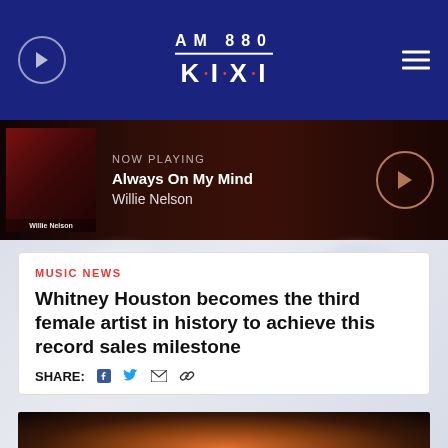AM 880 K·I·X·I
NOW PLAYING
Always On My Mind
Willie Nelson
MUSIC NEWS
Whitney Houston becomes the third female artist in history to achieve this record sales milestone
SHARE:
[Figure (photo): Bottom strip showing a partial photo, likely of Whitney Houston performing, with warm amber/orange stage lighting against a dark background]